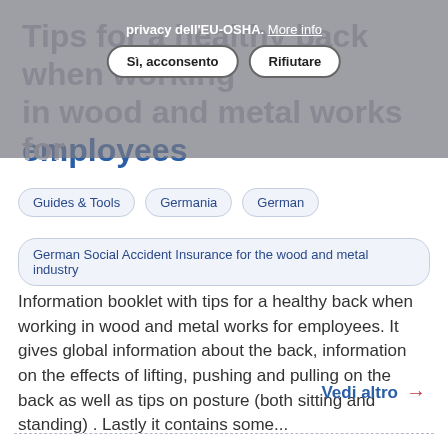Tips for a healthy back when working in wood and metal works for employees
privacy dell'EU-OSHA. More info
Sì, acconsento   Rifiutare
Guides & Tools
Germania
German
German Social Accident Insurance for the wood and metal industry
Information booklet with tips for a healthy back when working in wood and metal works for employees. It gives global information about the back, information on the effects of lifting, pushing and pulling on the back as well as tips on posture (both sitting and standing) . Lastly it contains some...
Vedi altro →